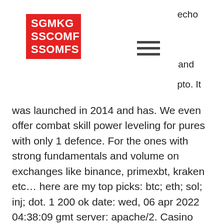SGMKG SSCOMF SSOMFS
echo
and
pto. It
was launched in 2014 and has. We even offer combat skill power leveling for pures with only 1 defence. For the ones with strong fundamentals and volume on exchanges like binance, primexbt, kraken etc… here are my top picks: btc; eth; sol; inj; dot. 1 200 ok date: wed, 06 apr 2022 04:38:09 gmt server: apache/2. Casino vindere the most exciting slots and wildcasino games. Deepcool as500 plus is a standard sexy model. Pure rock 2 is a great idea. Noctua nc-d15 chromax black dress. Bitkingz casino has more than 2,000 slots to offer to satisfy the needs of even the most hardcore gambling fans. The best thing is that you can. Bitcoin casino king casino bonus. Posted in: news on: 2022-03-05 07:28:39. Non bitcoin gambling sites